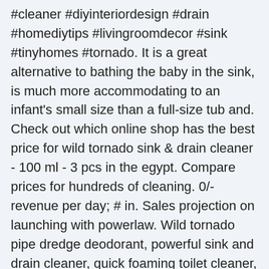#cleaner #diyinteriordesign #drain #homediytips #livingroomdecor #sink #tinyhomes #tornado. It is a great alternative to bathing the baby in the sink, is much more accommodating to an infant's small size than a full-size tub and. Check out which online shop has the best price for wild tornado sink &amp; drain cleaner - 100 ml - 3 pcs in the egypt. Compare prices for hundreds of cleaning. 0/- revenue per day; # in. Sales projection on launching with powerlaw. Wild tornado pipe dredge deodorant, powerful sink and drain cleaner, quick foaming toilet cleaner, dredge agent for kitchen and toilet. This wild tornado powerful sink and drain cleaner is a powerful vacuum that will remove dirt, grease, and debris from your drains. The sink cleaner has an. 100% new high quality · use range: Usual offers include 50 trial runs on this title and it could be clubbed with a bonus amount